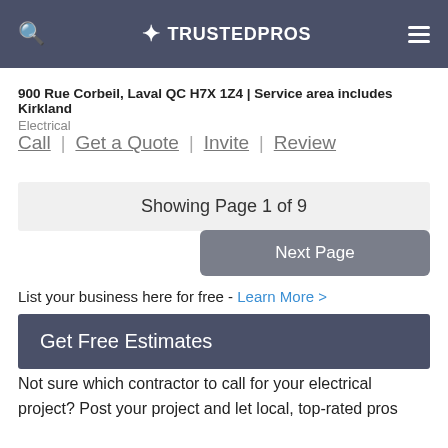TRUSTEDPROS
900 Rue Corbeil, Laval QC H7X 1Z4 | Service area includes Kirkland
Electrical
Call | Get a Quote | Invite | Review
Showing Page 1 of 9
Next Page
List your business here for free - Learn More >
Get Free Estimates
Not sure which contractor to call for your electrical project? Post your project and let local, top-rated pros